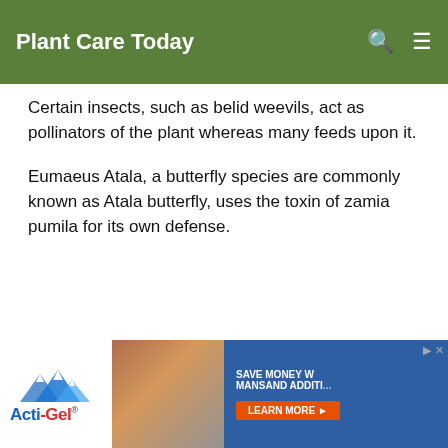Plant Care Today
Certain insects, such as belid weevils, act as pollinators of the plant whereas many feeds upon it.
Eumaeus Atala, a butterfly species are commonly known as Atala butterfly, uses the toxin of zamia pumila for its own defense.
[Figure (screenshot): Advertisement banner for Acti-Gel product showing logo, photo of construction material, and 'SAVE MONEY W MANSAND ADDIT...' text with 'LEARN MORE' button]